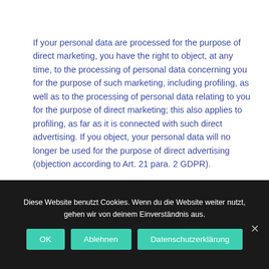If your personal data are processed for the purpose of direct marketing, you have the right to object, at any time, to the processing of personal data concerning you for the purpose of such marketing, including profiling, as well as to the processing of personal data relating to you for the purpose of direct marketing; this also applies to profiling, as far as it is connected with such direct advertising. If you object, your personal data will no longer be used for the purpose of direct advertising (objection according to Art. 21 para. 2 GDPR).
Right of appeal to the competent supervisory authority
Diese Website benutzt Cookies. Wenn du die Website weiter nutzt, gehen wir von deinem Einverständnis aus.